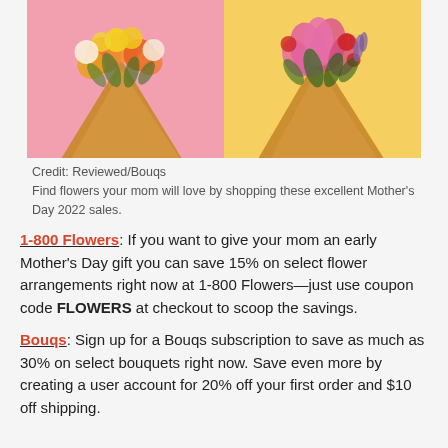[Figure (photo): Two flower bouquets wrapped in brown kraft paper. Left bouquet has orange, yellow and white flowers on a pink background. Right bouquet has pink lilies, roses and red accent flowers on a yellow background.]
Credit: Reviewed/Bouqs
Find flowers your mom will love by shopping these excellent Mother's Day 2022 sales.
1-800 Flowers: If you want to give your mom an early Mother's Day gift you can save 15% on select flower arrangements right now at 1-800 Flowers—just use coupon code FLOWERS at checkout to scoop the savings.
Bouqs: Sign up for a Bouqs subscription to save as much as 30% on select bouquets right now. Save even more by creating a user account for 20% off your first order and $10 off shipping.